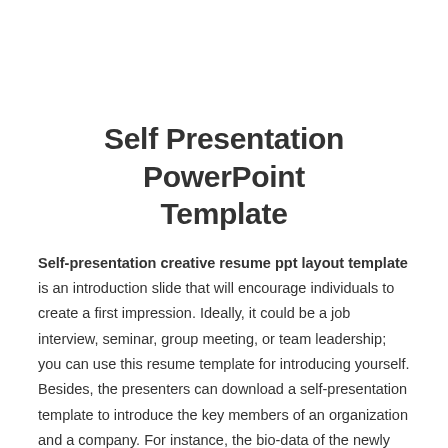Self Presentation PowerPoint Template
Self-presentation creative resume ppt layout template is an introduction slide that will encourage individuals to create a first impression. Ideally, it could be a job interview, seminar, group meeting, or team leadership; you can use this resume template for introducing yourself. Besides, the presenters can download a self-presentation template to introduce the key members of an organization and a company. For instance, the bio-data of the newly appointed CEO or CFO can be illustrated using self-